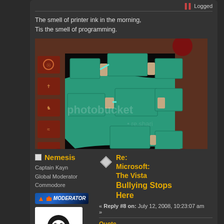Logged
The smell of printer ink in the morning, Tis the smell of programming.
[Figure (screenshot): Top-down video game map screenshot showing teal-colored rooms connected by passages, with brown/red stone borders and a left-side icon panel. A photobucket watermark is visible.]
Nemesis
Captain Kayn
Global Moderator
Commodore
[Figure (logo): Moderator badge with Star Trek-style insignia and MODERATOR text]
[Figure (photo): Avatar image of Tux the Linux penguin with colorful chest markings]
Re: Microsoft: The Vista Bullying Stops Here
« Reply #8 on: July 12, 2008, 10:23:07 am »
Quote
Windows Vista has been